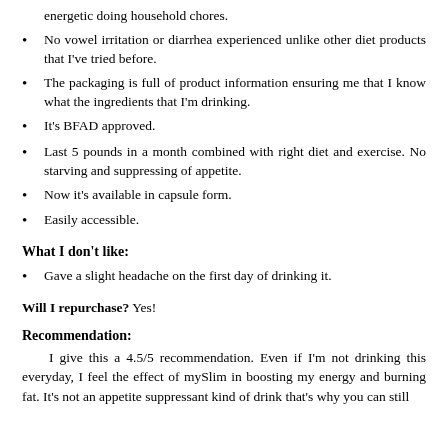energetic doing household chores.
No vowel irritation or diarrhea experienced unlike other diet products that I've tried before.
The packaging is full of product information ensuring me that I know what the ingredients that I'm drinking.
It's BFAD approved.
Last 5 pounds in a month combined with right diet and exercise. No starving and suppressing of appetite.
Now it's available in capsule form.
Easily accessible.
What I don't like:
Gave a slight headache on the first day of drinking it.
Will I repurchase? Yes!
Recommendation:
I give this a 4.5/5 recommendation. Even if I'm not drinking this everyday, I feel the effect of mySlim in boosting my energy and burning fat. It's not an appetite suppressant kind of drink that's why you can still